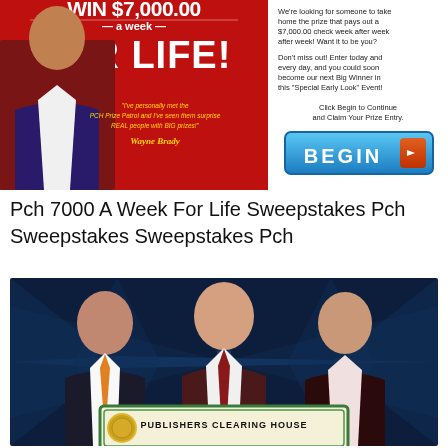[Figure (photo): PCH sweepstakes advertisement banner showing 'WIN $7,000.00 a week FOR LIFE!' with Wayne Brady endorsement quote in yellow italic text, a man in a suit on the left side, and on the right side white background with text about the prize and a blue BEGIN button with orange arrow.]
Pch 7000 A Week For Life Sweepstakes Pch Sweepstakes Sweepstakes Pch
[Figure (photo): Photo of three people (two men and a woman) holding a large Publishers Clearing House prize check. Background is dark blue with starburst rays. The check has a green border and reads 'PUBLISHERS CLEARING HOUSE'.]